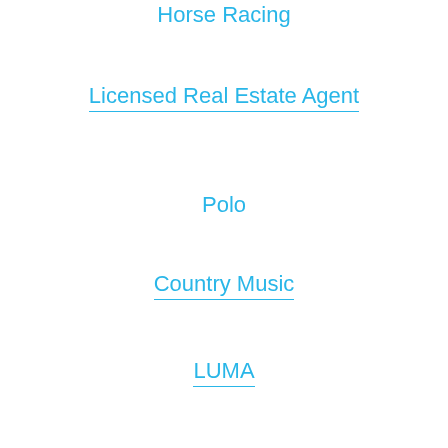Horse Racing
Licensed Real Estate Agent
Polo
Country Music
LUMA